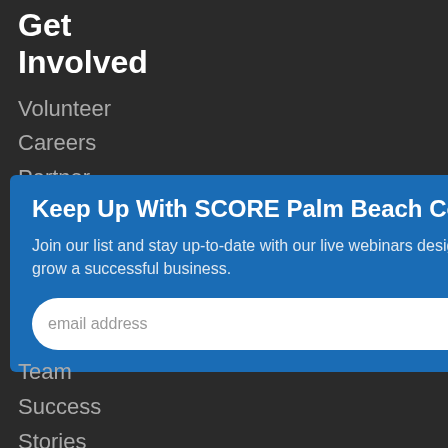Get Involved
Volunteer
Careers
Partner
[Figure (screenshot): Modal popup with title 'Keep Up With SCORE Palm Beach County', body text, email input, and SUBMIT button on a blue background with close button]
Team
Success
Stories
Annual